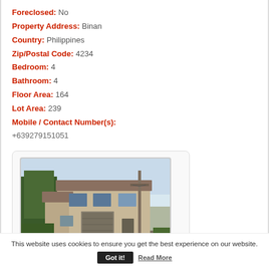Foreclosed: No
Property Address: Binan
Country: Philippines
Zip/Postal Code: 4234
Bedroom: 4
Bathroom: 4
Floor Area: 164
Lot Area: 239
Mobile / Contact Number(s): +639279151051
[Figure (photo): Exterior photo of a two-story residential house in the Philippines, beige/tan colored, with garage, surrounded by greenery and a utility pole visible on the right.]
This website uses cookies to ensure you get the best experience on our website. Got it! Read More